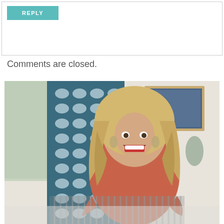REPLY
Comments are closed.
[Figure (photo): A smiling blonde woman in an orange long-sleeve top leaning forward on a striped chair in a room with blue geometric patterned curtains and a framed artwork on the wall behind her.]